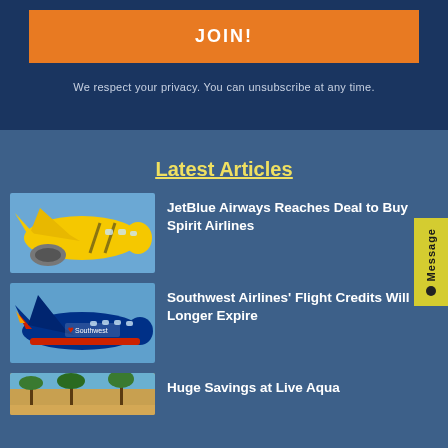JOIN!
We respect your privacy. You can unsubscribe at any time.
Latest Articles
[Figure (photo): Yellow Spirit Airlines plane in flight against blue sky]
JetBlue Airways Reaches Deal to Buy Spirit Airlines
[Figure (photo): Southwest Airlines blue and red plane in flight against blue sky]
Southwest Airlines' Flight Credits Will No Longer Expire
[Figure (photo): Partial view of tropical resort, Live Aqua]
Huge Savings at Live Aqua